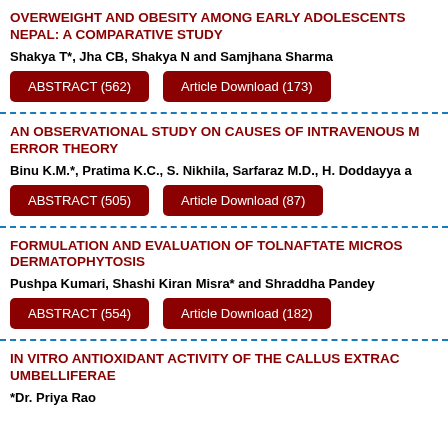OVERWEIGHT AND OBESITY AMONG EARLY ADOLESCENTS NEPAL: A COMPARATIVE STUDY
Shakya T*, Jha CB, Shakya N and Samjhana Sharma
ABSTRACT (562)   Article Download (173)
AN OBSERVATIONAL STUDY ON CAUSES OF INTRAVENOUS M ERROR THEORY
Binu K.M.*, Pratima K.C., S. Nikhila, Sarfaraz M.D., H. Doddayya a
ABSTRACT (505)   Article Download (87)
FORMULATION AND EVALUATION OF TOLNAFTATE MICROS DERMATOPHYTOSIS
Pushpa Kumari, Shashi Kiran Misra* and Shraddha Pandey
ABSTRACT (554)   Article Download (182)
IN VITRO ANTIOXIDANT ACTIVITY OF THE CALLUS EXTRAC UMBELLIFERAE
*Dr. Priya Rao